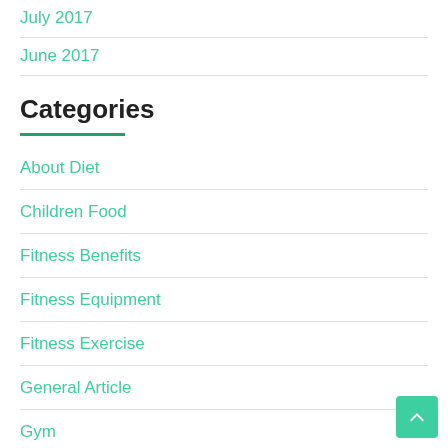July 2017
June 2017
Categories
About Diet
Children Food
Fitness Benefits
Fitness Equipment
Fitness Exercise
General Article
Gym
Gym Equipment
Healthy Body